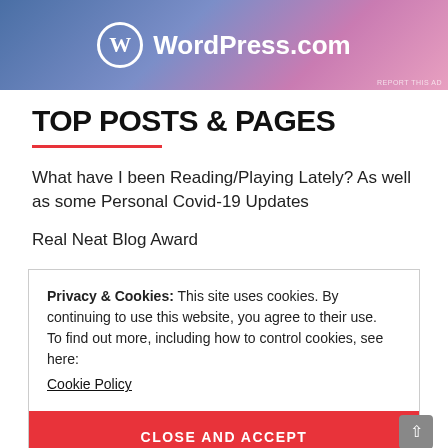[Figure (logo): WordPress.com logo banner with blue-to-pink gradient background, white WordPress circle logo and WordPress.com text in white]
TOP POSTS & PAGES
What have I been Reading/Playing Lately? As well as some Personal Covid-19 Updates
Real Neat Blog Award
Privacy & Cookies: This site uses cookies. By continuing to use this website, you agree to their use. To find out more, including how to control cookies, see here: Cookie Policy
CLOSE AND ACCEPT